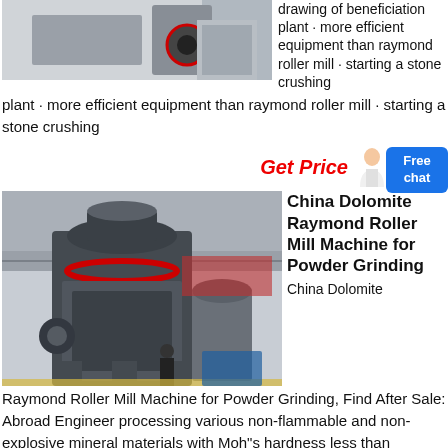[Figure (photo): Industrial machinery photo at top of page, partially visible]
drawing of beneficiation plant · more efficient equipment than raymond roller mill · starting a stone crushing
Get Price
[Figure (photo): China Dolomite Raymond Roller Mill Machine in industrial facility]
China Dolomite Raymond Roller Mill Machine for Powder Grinding
China Dolomite Raymond Roller Mill Machine for Powder Grinding, Find After Sale: Abroad Engineer processing various non-flammable and non-explosive mineral materials with Moh"s hardness less than